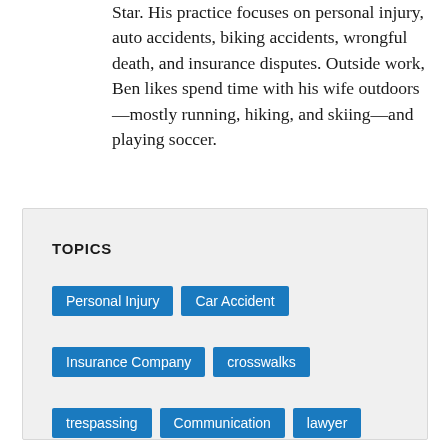Star. His practice focuses on personal injury, auto accidents, biking accidents, wrongful death, and insurance disputes. Outside work, Ben likes spend time with his wife outdoors—mostly running, hiking, and skiing—and playing soccer.
TOPICS
Personal Injury
Car Accident
Insurance Company
crosswalks
trespassing
Communication
lawyer
pedestrian